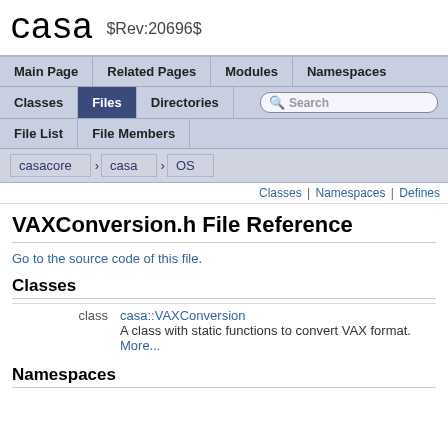casa $Rev:20696$
Main Page | Related Pages | Modules | Namespaces | Classes | Files | Directories | Search
File List | File Members
casacore > casa > OS
Classes | Namespaces | Defines
VAXConversion.h File Reference
Go to the source code of this file.
Classes
|  | Name | Description |
| --- | --- | --- |
| class | casa::VAXConversion | A class with static functions to convert VAX format. More... |
Namespaces